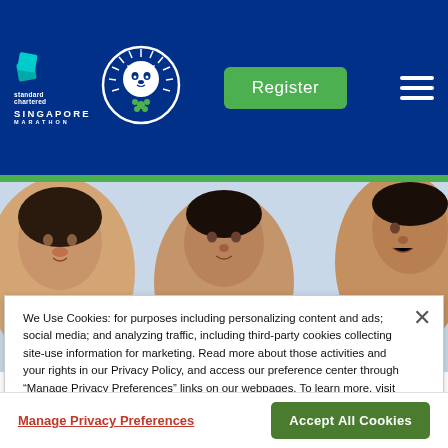Standard Chartered Singapore Marathon — Register navigation bar
[Figure (screenshot): Photo of three people smiling, used as hero banner for the marathon website]
We Use Cookies: for purposes including personalizing content and ads; social media; and analyzing traffic, including third-party cookies collecting site-use information for marketing. Read more about those activities and your rights in our Privacy Policy, and access our preference center through “Manage Privacy Preferences” links on our webpages. To learn more, visit our Privacy Policy.
Manage Privacy Preferences
Accept All Cookies